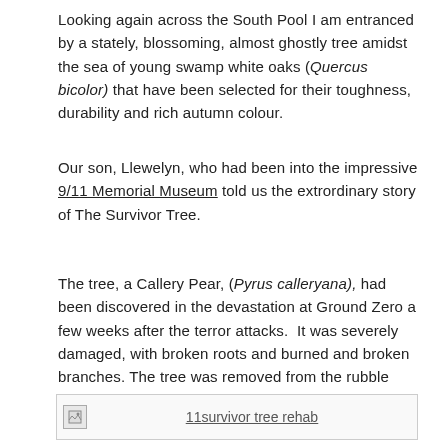Looking again across the South Pool I am entranced by a stately, blossoming, almost ghostly tree amidst the sea of young swamp white oaks (Quercus bicolor) that have been selected for their toughness, durability and rich autumn colour.
Our son, Llewelyn, who had been into the impressive 9/11 Memorial Museum told us the extrordinary story of The Survivor Tree.
The tree, a Callery Pear, (Pyrus calleryana), had been discovered in the devastation at Ground Zero a few weeks after the terror attacks.  It was severely damaged, with broken roots and burned and broken branches. The tree was removed from the rubble and cared for by the New York City Department of Parks and Recreation.
[Figure (photo): Image placeholder with caption '11survivor tree rehab']